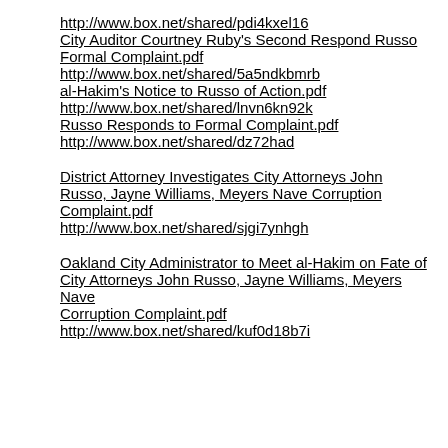http://www.box.net/shared/pdi4kxel16
City Auditor Courtney Ruby's Second Respond Russo Formal Complaint.pdf
http://www.box.net/shared/5a5ndkbmrb
al-Hakim's Notice to Russo of Action.pdf
http://www.box.net/shared/lnvn6kn92k
Russo Responds to Formal Complaint.pdf
http://www.box.net/shared/dz72had
District Attorney Investigates City Attorneys John Russo, Jayne Williams, Meyers Nave Corruption Complaint.pdf
http://www.box.net/shared/sjgi7ynhgh
Oakland City Administrator to Meet al-Hakim on Fate of City Attorneys John Russo, Jayne Williams, Meyers Nave Corruption Complaint.pdf
http://www.box.net/shared/kuf0d18b7i